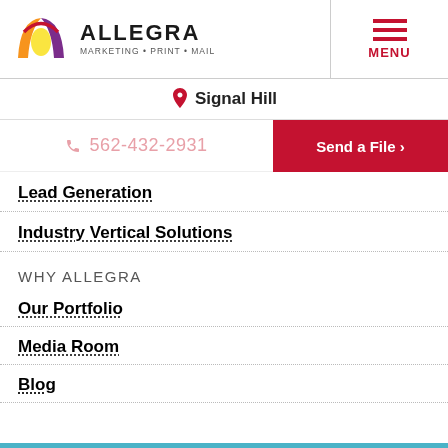[Figure (logo): Allegra Marketing Print Mail logo with colorful 'A' icon]
Signal Hill
562-432-2931
Send a File ›
Lead Generation
Industry Vertical Solutions
WHY ALLEGRA
Our Portfolio
Media Room
Blog